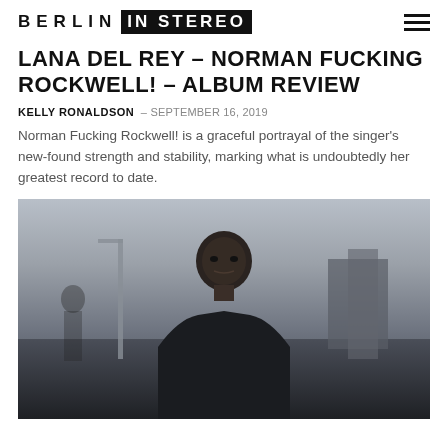BERLIN IN STEREO
LANA DEL REY – NORMAN FUCKING ROCKWELL! – ALBUM REVIEW
KELLY RONALDSON – SEPTEMBER 16, 2019
Norman Fucking Rockwell! is a graceful portrayal of the singer's new-found strength and stability, marking what is undoubtedly her greatest record to date.
[Figure (photo): A young Black man in a black t-shirt stands outdoors looking directly at the camera, with street lights and buildings blurred in the background. The lighting is overcast and muted.]